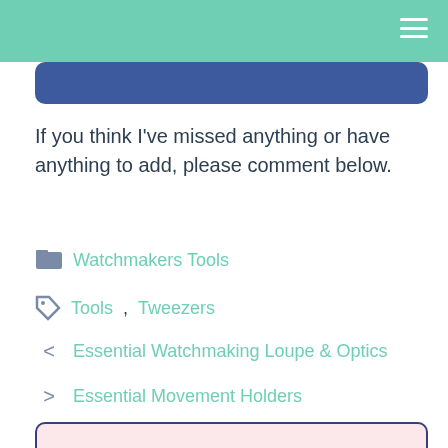If you think I’ve missed anything or have anything to add, please comment below.
Watchmakers Tools
Tools, Tweezers
< Essential Watchmaking Loupe & Optics
> Essential Movement Holders